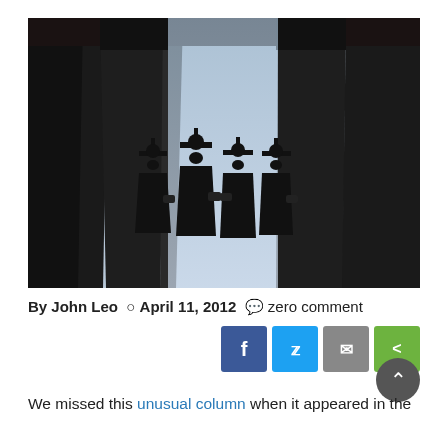[Figure (photo): Four graduates in cap and gown silhouetted against large columns of a monumental building, viewed from below]
By John Leo  © April 11, 2012  zero comment
We missed this unusual column when it appeared in the